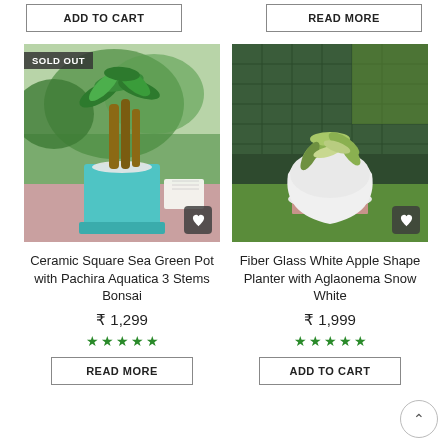[Figure (screenshot): Top buttons: ADD TO CART (left) and READ MORE (right)]
[Figure (photo): Ceramic Square Sea Green Pot with Pachira Aquatica 3 Stems Bonsai plant photo, SOLD OUT badge, heart button]
[Figure (photo): Fiber Glass White Apple Shape Planter with Aglaonema Snow White plant photo, heart button]
Ceramic Square Sea Green Pot with Pachira Aquatica 3 Stems Bonsai
Fiber Glass White Apple Shape Planter with Aglaonema Snow White
₹ 1,299
₹ 1,999
★★★★★
★★★★★
READ MORE
ADD TO CART